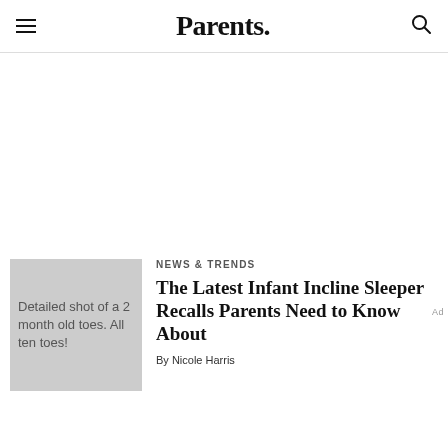Parents.
[Figure (photo): Placeholder image: Detailed shot of a 2 month old toes. All ten toes!]
NEWS & TRENDS
The Latest Infant Incline Sleeper Recalls Parents Need to Know About
By Nicole Harris